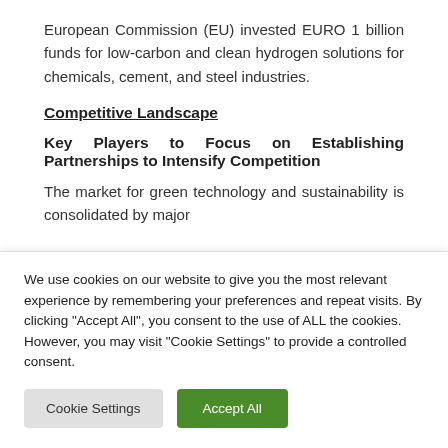European Commission (EU) invested EURO 1 billion funds for low-carbon and clean hydrogen solutions for chemicals, cement, and steel industries.
Competitive Landscape
Key Players to Focus on Establishing Partnerships to Intensify Competition
The market for green technology and sustainability is consolidated by major
We use cookies on our website to give you the most relevant experience by remembering your preferences and repeat visits. By clicking "Accept All", you consent to the use of ALL the cookies. However, you may visit "Cookie Settings" to provide a controlled consent.